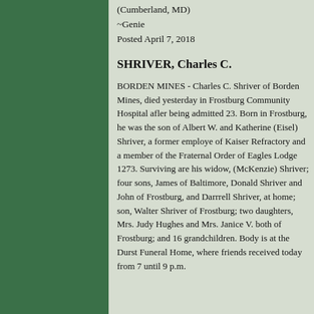(Cumberland, MD)
~Genie
Posted April 7, 2018
SHRIVER, Charles C.
BORDEN MINES - Charles C. Shriver of Borden Mines, died yesterday in Frostburg Community Hospital after being admitted 23. Born in Frostburg, he was the son of Albert W. and Katherine (Eisel) Shriver, a former employe of Kaiser Refractory and a member of the Fraternal Order of Eagles Lodge 1273. Surviving are his widow, (McKenzie) Shriver; four sons, James of Baltimore, Donald Shriver and John of Frostburg, and Darrrell Shriver, at home; son, Walter Shriver of Frostburg; two daughters, Mrs. Judy Hughes and Mrs. Janice V. both of Frostburg; and 16 grandchildren. Body is at the Durst Funeral Home, where friends received today from 7 until 9 p.m.